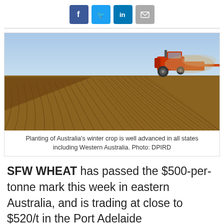[Figure (photo): Social media sharing icons: Facebook (blue), Twitter (light blue), LinkedIn (blue), Email (grey)]
[Figure (photo): A red tractor planting crops in a large Australian wheat field, creating curved furrow rows in brown soil under a clear sky.]
Planting of Australia’s winter crop is well advanced in all states including Western Australia. Photo: DPIRD
SFW WHEAT has passed the $500-per-tonne mark this week in eastern Australia, and is trading at close to $520/t in the Port Adelaide